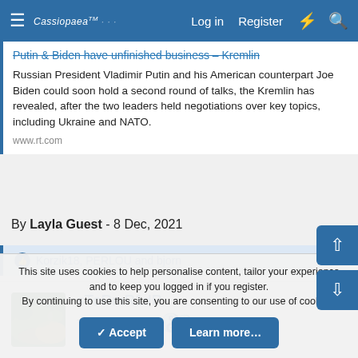Cassiopaea  Log in  Register
Putin & Biden have unfinished business – Kremlin
Russian President Vladimir Putin and his American counterpart Joe Biden could soon hold a second round of talks, the Kremlin has revealed, after the two leaders held negotiations over key topics, including Ukraine and NATO.
www.rt.com
By Layla Guest - 8 Dec, 2021
Korzik18, PERLOU and bjorn
sToRmR1dR
The Living Force
This site uses cookies to help personalise content, tailor your experience and to keep you logged in if you register. By continuing to use this site, you are consenting to our use of cookies.
Accept
Learn more...